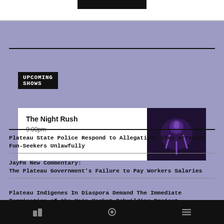UPCOMING SHOWS
The Night Rush
9:00pm
LATEST NEWS
Plateau State Police Respond to Allegations they arrested Fun-Seekers Unlawfully
JayFm New Commentary:
The Plateau Government's Failure to Pay Workers Salaries
Plateau Indigenes In Diaspora Demand The Immediate Termination of the Main Market Rebuilding Project